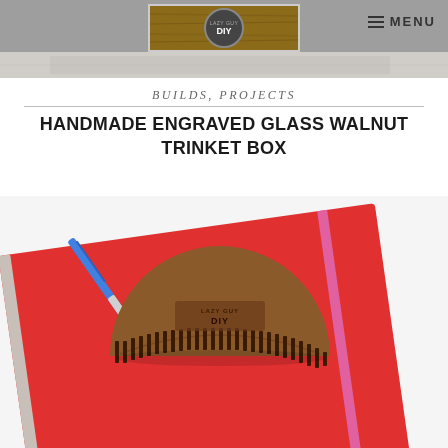LAZY GUY DIY — MENU
[Figure (photo): Top strip showing a partial view of a wooden surface or project]
BUILDS, PROJECTS
HANDMADE ENGRAVED GLASS WALNUT TRINKET BOX
[Figure (photo): A red notebook with a pink elastic band and a wooden semi-circular beard comb with engraved 'LAZY GUY DIY' logo, accompanied by a blue pen on a white surface]